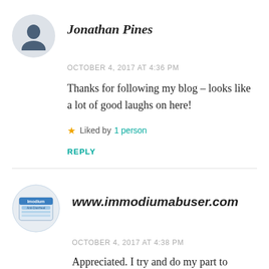Jonathan Pines
OCTOBER 4, 2017 AT 4:36 PM
Thanks for following my blog – looks like a lot of good laughs on here!
Liked by 1 person
REPLY
[Figure (logo): Imodium Anti-Diarrheal product box circular avatar image]
www.immodiumabuser.com
OCTOBER 4, 2017 AT 4:38 PM
Appreciated. I try and do my part to